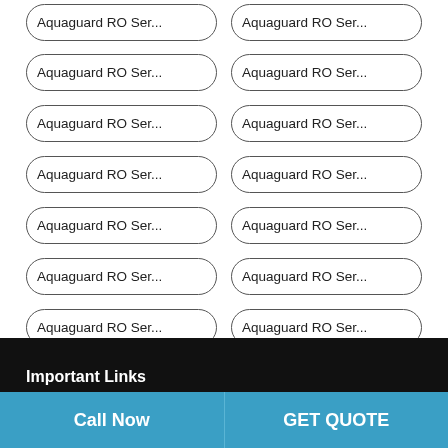Aquaguard RO Ser...
Aquaguard RO Ser...
Aquaguard RO Ser...
Aquaguard RO Ser...
Aquaguard RO Ser...
Aquaguard RO Ser...
Aquaguard RO Ser...
Aquaguard RO Ser...
Aquaguard RO Ser...
Aquaguard RO Ser...
Aquaguard RO Ser...
Aquaguard RO Ser...
Aquaguard RO Ser...
Aquaguard RO Ser...
Aquaguard RO Ser...
Aquaguard RO Ser...
Important Links
Call Now
GET QUOTE